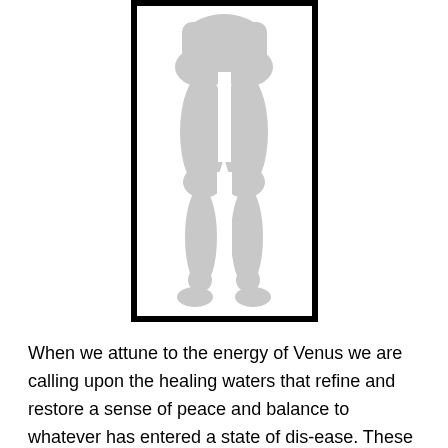[Figure (illustration): A grayscale silhouette of a human body (lower half, from waist to feet, front view) inside a thick black rectangular border.]
When we attune to the energy of Venus we are calling upon the healing waters that refine and restore a sense of peace and balance to whatever has entered a state of dis-ease. These are the basic energies of the healer and the energy called upon to bring balance to the energetic systems.  If we think of the fertility aspect of Venus, it is